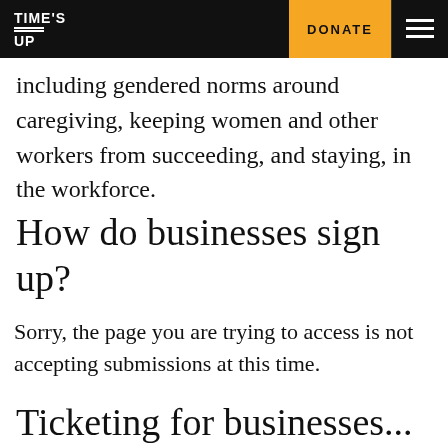TIME'S UP | DONATE
including gendered norms around caregiving, keeping women and other workers from succeeding, and staying, in the workforce.
How do businesses sign up?
Sorry, the page you are trying to access is not accepting submissions at this time.
Ticketing for businesses...